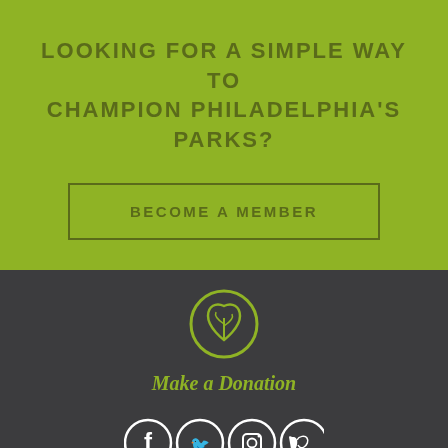LOOKING FOR A SIMPLE WAY TO CHAMPION PHILADELPHIA'S PARKS?
BECOME A MEMBER
[Figure (logo): Leaf/seed icon inside a circle, yellow-green color]
Make a Donation
[Figure (infographic): Four social media icons in circles: Facebook, Twitter, Instagram, Vimeo]